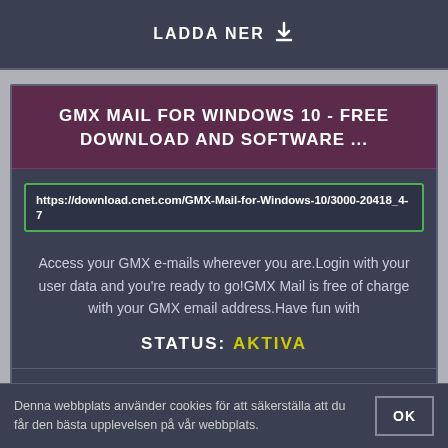LADDA NER ⬇
GMX MAIL FOR WINDOWS 10 - FREE DOWNLOAD AND SOFTWARE ...
https://download.cnet.com/GMX-Mail-for-Windows-10/3000-20418_4-7
Access your GMX e-mails wherever you are.Login with your user data and you're ready to go!GMX Mail is free of charge with your GMX email address.Have fun with
STATUS: AKTIVA
FÖRHANDSVISNING 👁
LADDA NER ⬇
Denna webbplats använder cookies för att säkerställa att du får den bästa upplevelsen på vår webbplats.